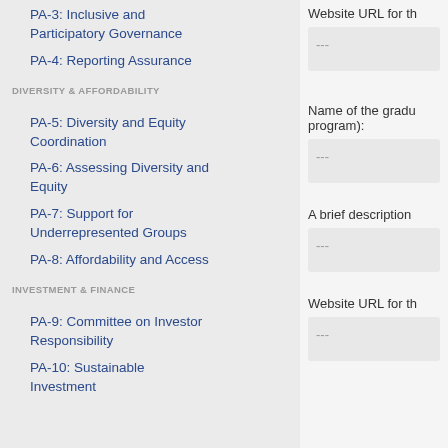PA-3: Inclusive and Participatory Governance
PA-4: Reporting Assurance
DIVERSITY & AFFORDABILITY
PA-5: Diversity and Equity Coordination
PA-6: Assessing Diversity and Equity
PA-7: Support for Underrepresented Groups
PA-8: Affordability and Access
INVESTMENT & FINANCE
PA-9: Committee on Investor Responsibility
PA-10: Sustainable Investment
Website URL for th
---
Name of the gradu program):
---
A brief description
---
Website URL for th
---